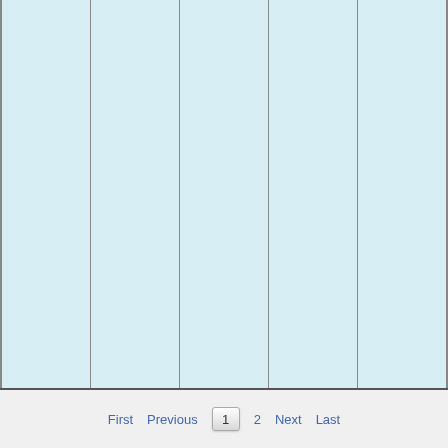[Figure (other): A grid/table layout with 5 vertical columns separated by thin gray dividers, all filled with a light blue background. The area appears to be a data table or spreadsheet view with no visible content in the cells.]
First  Previous  1  2  Next  Last